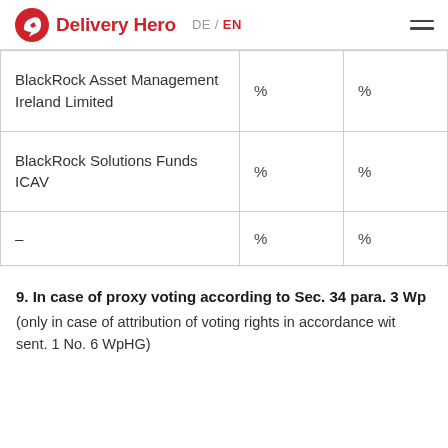Delivery Hero  DE / EN
|  |  |  |
| --- | --- | --- |
| BlackRock Asset Management Ireland Limited | % | % |
| BlackRock Solutions Funds ICAV | % | % |
| – | % | % |
9. In case of proxy voting according to Sec. 34 para. 3 Wp
(only in case of attribution of voting rights in accordance wit sent. 1 No. 6 WpHG)